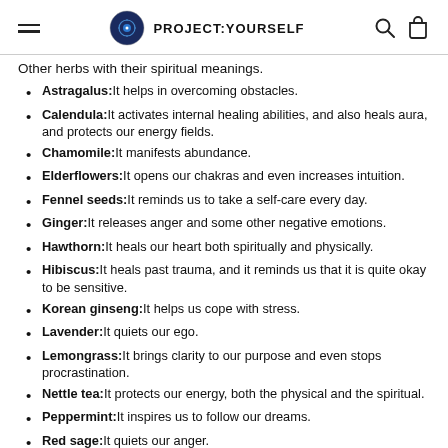PROJECT:YOURSELF
Other herbs with their spiritual meanings.
Astragalus: It helps in overcoming obstacles.
Calendula: It activates internal healing abilities, and also heals aura, and protects our energy fields.
Chamomile: It manifests abundance.
Elderflowers: It opens our chakras and even increases intuition.
Fennel seeds: It reminds us to take a self-care every day.
Ginger: It releases anger and some other negative emotions.
Hawthorn: It heals our heart both spiritually and physically.
Hibiscus: It heals past trauma, and it reminds us that it is quite okay to be sensitive.
Korean ginseng: It helps us cope with stress.
Lavender: It quiets our ego.
Lemongrass: It brings clarity to our purpose and even stops procrastination.
Nettle tea: It protects our energy, both the physical and the spiritual.
Peppermint: It inspires us to follow our dreams.
Red sage: It quiets our anger.